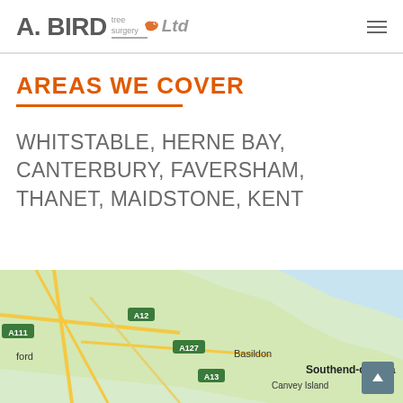A. BIRD tree surgery Ltd
AREAS WE COVER
WHITSTABLE, HERNE BAY, CANTERBURY, FAVERSHAM, THANET, MAIDSTONE, KENT
[Figure (map): Google Maps view showing Essex area including Basildon, Southend-on-Sea, Canvey Island, and road labels A12, A127, A13, A111]